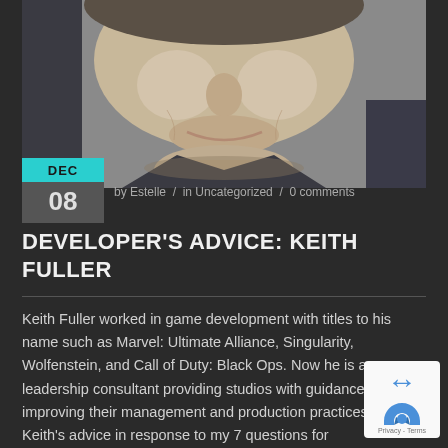[Figure (photo): Close-up photo of a man's face, smiling slightly, wearing a dark shirt. Gray-toned background.]
DEC
08
by Estelle / in Uncategorized / 0 comments
DEVELOPER'S ADVICE: KEITH FULLER
Keith Fuller worked in game development with titles to his name such as Marvel: Ultimate Alliance, Singularity, Wolfenstein, and Call of Duty: Black Ops. Now he is a leadership consultant providing studios with guidance improving their management and production practices. Here's Keith's advice in response to my 7 questions for